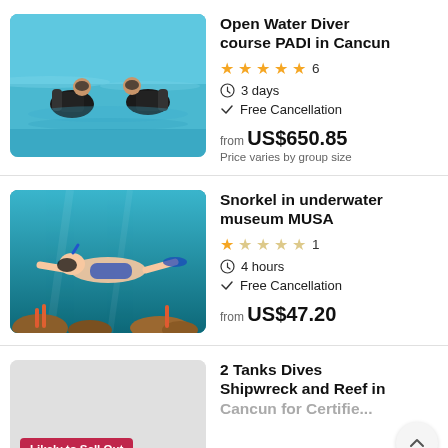[Figure (photo): Two scuba divers in turquoise water near the surface]
Open Water Diver course PADI in Cancun
★★★★★ 6
3 days
Free Cancellation
from US$650.85
Price varies by group size
[Figure (photo): Person snorkeling underwater near coral reef with blue water background]
Snorkel in underwater museum MUSA
★☆☆☆☆ 1
4 hours
Free Cancellation
from US$47.20
[Figure (photo): Gray placeholder image with Likely to Sell Out badge]
2 Tanks Dives Shipwreck and Reef in Cancun for Certified...